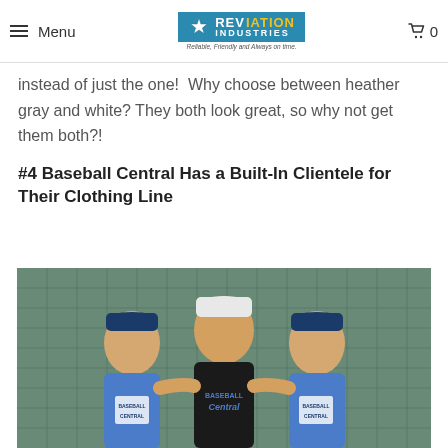Menu | Reviation Industries - Reliable, Friendly and Always on time. | 0
instead of just the one!  Why choose between heather gray and white? They both look great, so why not get them both?!
#4 Baseball Central Has a Built-In Clientele for Their Clothing Line
[Figure (photo): Three people wearing Baseball Central branded apparel (blue t-shirts and caps) posing together outdoors near a batting cage net. The person in the middle wears a black Baseball Central t-shirt and white cap.]